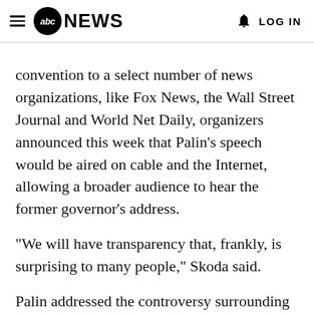abc NEWS   LOG IN
convention to a select number of news organizations, like Fox News, the Wall Street Journal and World Net Daily, organizers announced this week that Palin's speech would be aired on cable and the Internet, allowing a broader audience to hear the former governor's address.
"We will have transparency that, frankly, is surprising to many people," Skoda said.
Palin addressed the controversy surrounding the convention in her USA Today piece.